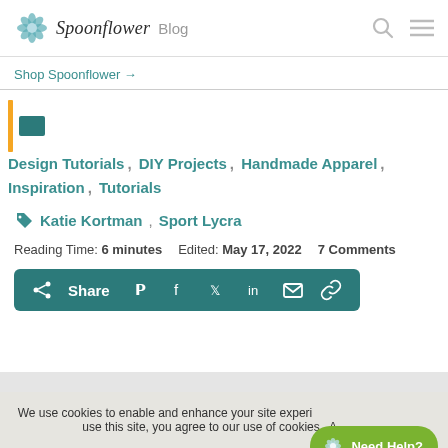Spoonflower Blog
Shop Spoonflower →
Design Tutorials, DIY Projects, Handmade Apparel, Inspiration, Tutorials
Katie Kortman, Sport Lycra
Reading Time: 6 minutes    Edited: May 17, 2022    7 Comments
Share
We use cookies to enable and enhance your site experience. By continuing to use this site, you agree to our use of cookies.
Need Help?